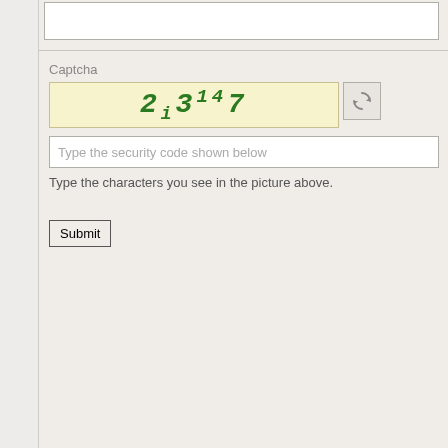Captcha
[Figure (screenshot): CAPTCHA image showing distorted green text '2i3147' on a light yellow background]
Type the security code shown below
Type the characters you see in the picture above.
Submit